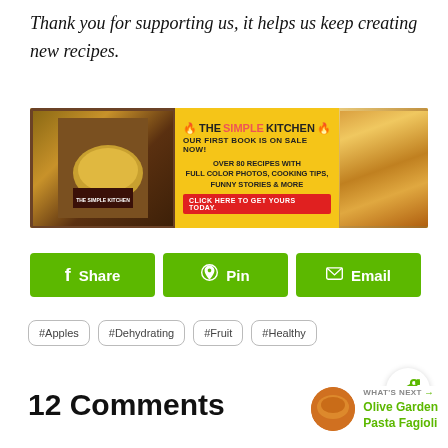Thank you for supporting us, it helps us keep creating new recipes.
[Figure (infographic): The Simple Kitchen cookbook banner advertisement. Left: book cover photo with colorful food. Center: yellow background with 'THE SIMPLE KITCHEN - OUR FIRST BOOK IS ON SALE NOW! OVER 80 RECIPES WITH FULL COLOR PHOTOS, COOKING TIPS, FUNNY STORIES & MORE. CLICK HERE TO GET YOURS TODAY.' Right: photo of a baked dish.]
Share
Pin
Email
#Apples
#Dehydrating
#Fruit
#Healthy
12 Comments
WHAT'S NEXT → Olive Garden Pasta Fagioli